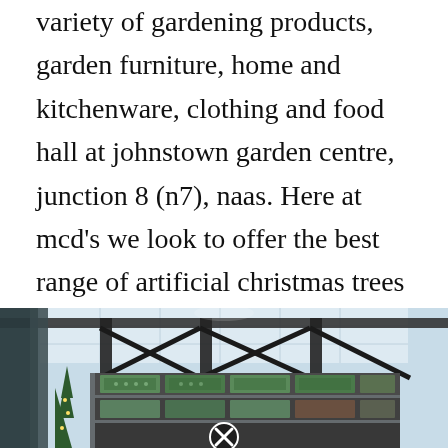variety of gardening products, garden furniture, home and kitchenware, clothing and food hall at johnstown garden centre, junction 8 (n7), naas. Here at mcd's we look to offer the best range of artificial christmas trees in ireland at the best possible value.we deliver across ireland and northern ireland.
[Figure (photo): Interior photo of a garden centre shop showing shelving units with boxed products, steel roof trusses visible overhead, and a Christmas tree on the left side. A close/dismiss button appears at the bottom center of the image.]